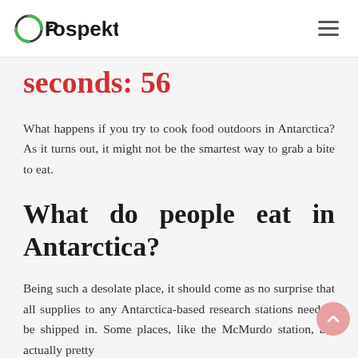Prospekt
seconds: 56
What happens if you try to cook food outdoors in Antarctica? As it turns out, it might not be the smartest way to grab a bite to eat.
What do people eat in Antarctica?
Being such a desolate place, it should come as no surprise that all supplies to any Antarctica-based research stations need to be shipped in. Some places, like the McMurdo station, are actually pretty